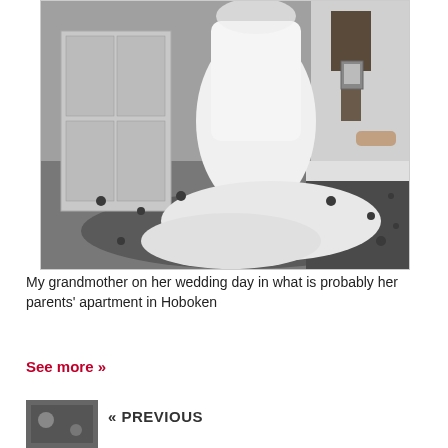[Figure (photo): Black and white photograph of a woman in a white wedding dress with a long train, standing in what appears to be a home interior with a rug, door, and furniture visible in the background.]
My grandmother on her wedding day in what is probably her parents’ apartment in Hoboken
See more »
[Figure (photo): Small thumbnail image, appears to be a nature or outdoor scene.]
« PREVIOUS